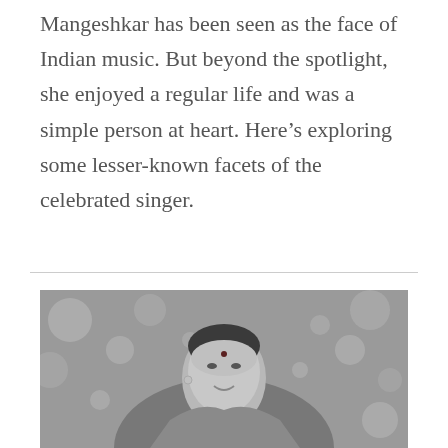Mangeshkar has been seen as the face of Indian music. But beyond the spotlight, she enjoyed a regular life and was a simple person at heart. Here’s exploring some lesser-known facets of the celebrated singer.
[Figure (photo): Black and white photograph of an elderly woman (Lata Mangeshkar) smiling, with a bindi on her forehead, wearing a sari, against a bokeh background.]